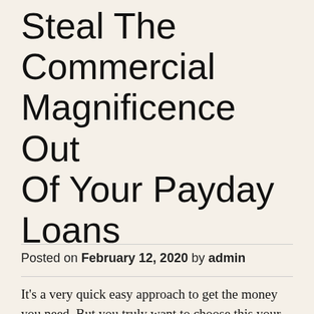Steal The Commercial Magnificence Out Of Your Payday Loans
Posted on February 12, 2020 by admin
It's a very quick easy approach to get the money you need. But you truly want to choose this your last resort, so make certain you completely need